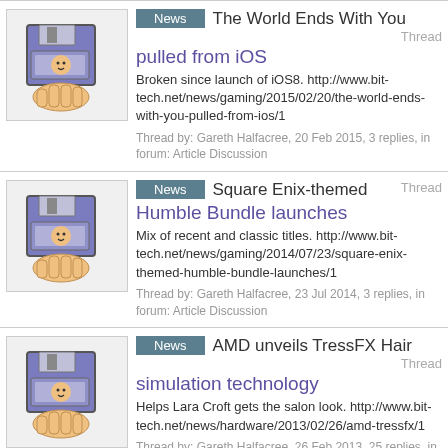News | The World Ends With You pulled from iOS | Thread
Broken since launch of iOS8. http://www.bit-tech.net/news/gaming/2015/02/20/the-world-ends-with-you-pulled-from-ios/1
Thread by: Gareth Halfacree, 20 Feb 2015, 3 replies, in forum: Article Discussion
News | Square Enix-themed Humble Bundle launches | Thread
Mix of recent and classic titles. http://www.bit-tech.net/news/gaming/2014/07/23/square-enix-themed-humble-bundle-launches/1
Thread by: Gareth Halfacree, 23 Jul 2014, 3 replies, in forum: Article Discussion
News | AMD unveils TressFX Hair simulation technology | Thread
Helps Lara Croft gets the salon look. http://www.bit-tech.net/news/hardware/2013/02/26/amd-tressfx/1
Thread by: Gareth Halfacree, 26 Feb 2013, 25 replies, in forum: Article Discussion
Showing results 1 to 17 of 17